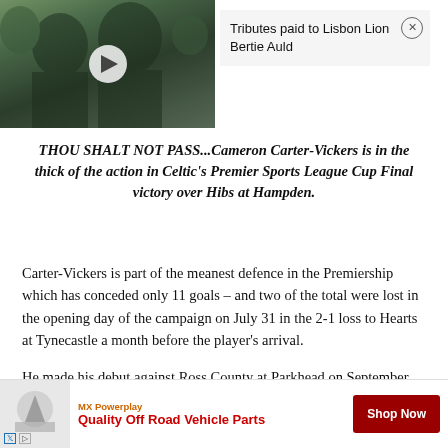[Figure (photo): Video thumbnail showing two men outdoors with umbrellas, greenish tones, with a play button overlay]
Tributes paid to Lisbon Lion Bertie Auld
THOU SHALT NOT PASS...Cameron Carter-Vickers is in the thick of the action in Celtic's Premier Sports League Cup Final victory over Hibs at Hampden.
Carter-Vickers is part of the meanest defence in the Premiership which has conceded only 11 goals – and two of the total were lost in the opening day of the campaign on July 31 in the 2-1 loss to Hearts at Tynecastle a month before the player's arrival.
He made his debut against Ross County at Parkhead on September 11 and marked the occasion by netting a deflected opene... Albian...
[Figure (advertisement): MX Powerplay ad: Quality Off Road Vehicle Parts, Shop Now button]